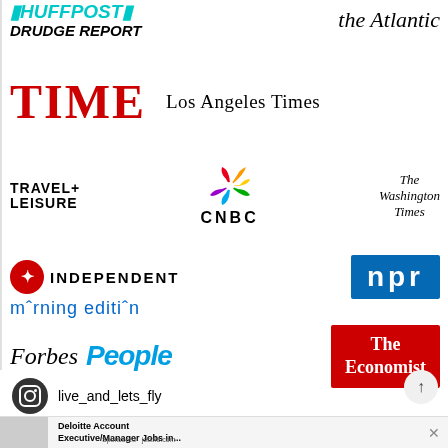[Figure (logo): HuffPost logo in teal italic bold]
[Figure (logo): Drudge Report logo in black italic bold]
[Figure (logo): The Atlantic logo in italic serif]
[Figure (logo): TIME logo in red large serif]
[Figure (logo): Los Angeles Times logo in serif]
[Figure (logo): Travel+Leisure logo in bold black caps]
[Figure (logo): NBC peacock logo colored feathers]
[Figure (logo): CNBC logo in bold black]
[Figure (logo): The Washington Times logo in blackletter serif]
[Figure (logo): The Independent logo with red circle icon]
[Figure (logo): NPR logo in blue box]
[Figure (logo): Morning Edition logo in blue]
[Figure (logo): Forbes logo in italic serif]
[Figure (logo): People logo in blue bold italic]
[Figure (logo): The Economist logo in red box white text]
live_and_lets_fly
Deloitte Account Executive/Manager Jobs in...
Sponsored
jobble.com